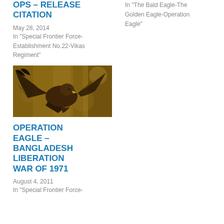OPs – RELEASE CITATION
May 28, 2014
In "Special Frontier Force-Establishment No.22-Vikas Regiment"
In "The Bald Eagle-The Golden Eagle-Operation Eagle"
[Figure (photo): A golden eagle in flight, wings spread, brown feathers, blurred forest background]
OPERATION EAGLE – BANGLADESH LIBERATION WAR OF 1971
August 4, 2011
In "Special Frontier Force-